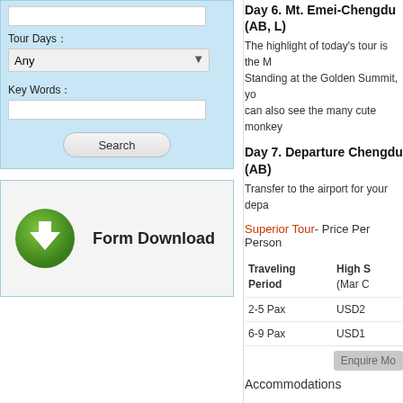Tour Days
Any
Key Words
Search
[Figure (other): Form Download button with green download icon]
Day 6. Mt. Emei-Chengdu (AB, L)
The highlight of today's tour is the M... Standing at the Golden Summit, yo... can also see the many cute monkey...
Day 7. Departure Chengdu (AB)
Transfer to the airport for your depa...
Superior Tour- Price Per Person
| Traveling Period | High S... (Mar C... |
| --- | --- |
| 2-5 Pax | USD2... |
| 6-9 Pax | USD1... |
Enquire Now
Accommodations